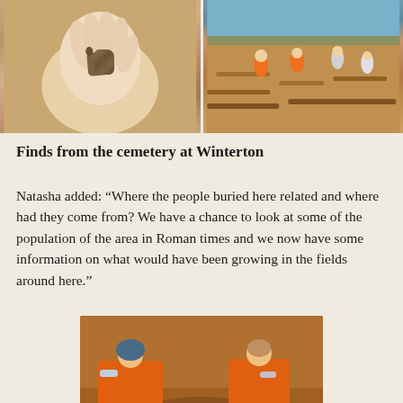[Figure (photo): Two photos side by side: left shows a hand holding a small archaeological find (appears to be a small artifact or fragment); right shows an excavation site with workers and trenches in reddish-brown soil.]
Finds from the cemetery at Winterton
Natasha added: “Where the people buried here related and where had they come from? We have a chance to look at some of the population of the area in Roman times and we now have some information on what would have been growing in the fields around here.”
[Figure (photo): Two archaeologists in orange high-visibility vests kneeling and working in a circular excavation pit in reddish-brown clay soil, examining artifacts.]